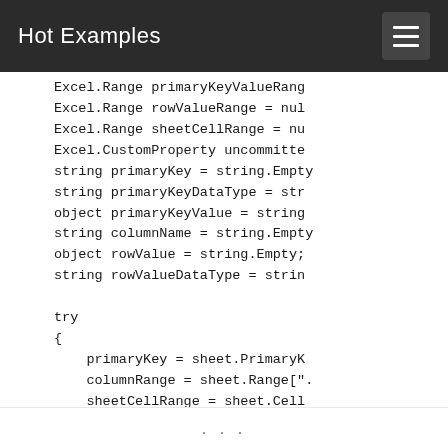Hot Examples
Excel.Range primaryKeyValueRange
Excel.Range rowValueRange = nul
Excel.Range sheetCellRange = nu
Excel.CustomProperty uncommitte
string primaryKey = string.Empty
string primaryKeyDataType = str
object primaryKeyValue = string
string columnName = string.Empty
object rowValue = string.Empty;
string rowValueDataType = string

try
{
    primaryKey = sheet.PrimaryK
    columnRange = sheet.Range[".
    sheetCellRange = sheet.Cell
    rowValueRange = sheetCellRa
...